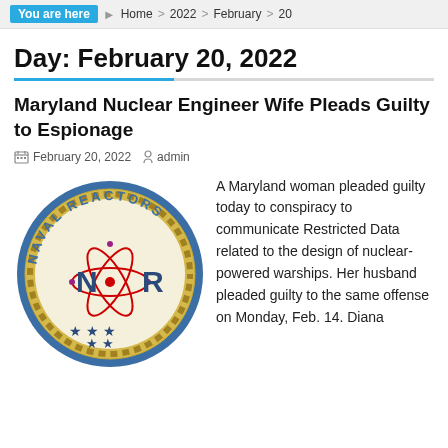You are here  Home > 2022 > February > 20
Day: February 20, 2022
Maryland Nuclear Engineer Wife Pleads Guilty to Espionage
February 20, 2022   admin
[Figure (logo): Naval Reactors official seal — circular emblem with blue border, gold rope ring, text 'NAVAL REACTORS' around the top arc, red atomic/nuclear symbol (orbiting electrons) in center, large letters N and R in dark blue, three blue stars at bottom, cream/off-white background.]
A Maryland woman pleaded guilty today to conspiracy to communicate Restricted Data related to the design of nuclear-powered warships. Her husband pleaded guilty to the same offense on Monday, Feb. 14. Diana